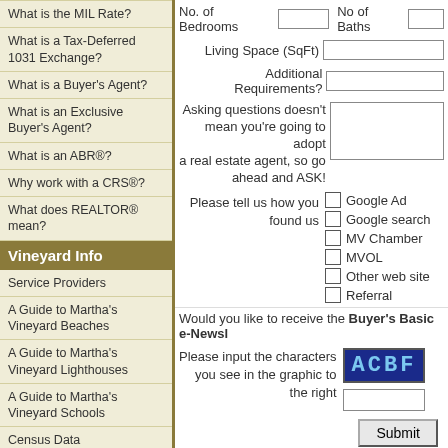What is the MIL Rate?
What is a Tax-Deferred 1031 Exchange?
What is a Buyer's Agent?
What is an Exclusive Buyer's Agent?
What is an ABR®?
Why work with a CRS®?
What does REALTOR® mean?
Vineyard Info
Service Providers
A Guide to Martha's Vineyard Beaches
A Guide to Martha's Vineyard Lighthouses
A Guide to Martha's Vineyard Schools
Census Data
Split Rock and other Vineyard Rocks
Massachusetts Real Estate LLC LIC #7755
Massachusetts Real Estate Broker Since 1991
No. of Bedrooms   No of Baths
Living Space (SqFt)
Additional Requirements?
Asking questions doesn't mean you're going to adopt a real estate agent, so go ahead and ASK!
Please tell us how you found us
Google Ad
Google search
MV Chamber
MVOL
Other web site
Referral
Would you like to receive the Buyer's Basic e-Newsl...
Please input the characters you see in the graphic to the right
[Figure (other): CAPTCHA image showing characters ACBF in blue digital display style]
Submit